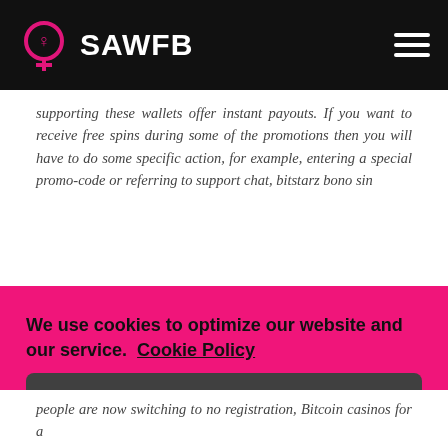SAWFB
supporting these wallets offer instant payouts. If you want to receive free spins during some of the promotions then you will have to do some specific action, for example, entering a special promo-code or referring to support chat, bitstarz bono sin
We use cookies to optimize our website and our service. Cookie Policy
people are now switching to no registration, Bitcoin casinos for a